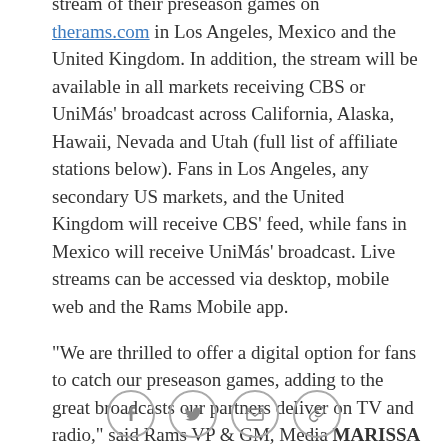stream of their preseason games on therams.com in Los Angeles, Mexico and the United Kingdom. In addition, the stream will be available in all markets receiving CBS or UniMás' broadcast across California, Alaska, Hawaii, Nevada and Utah (full list of affiliate stations below). Fans in Los Angeles, any secondary US markets, and the United Kingdom will receive CBS' feed, while fans in Mexico will receive UniMás' broadcast. Live streams can be accessed via desktop, mobile web and the Rams Mobile app.
"We are thrilled to offer a digital option for fans to catch our preseason games, adding to the great broadcasts our partners deliver on TV and radio," said Rams VP & GM, Media MARISSA DALY. "Following two years of playing in the UK and looking towards our game this year in Mexico, we are excited to give our fans across
[Figure (other): Social sharing icons: Facebook, Twitter, email, link]